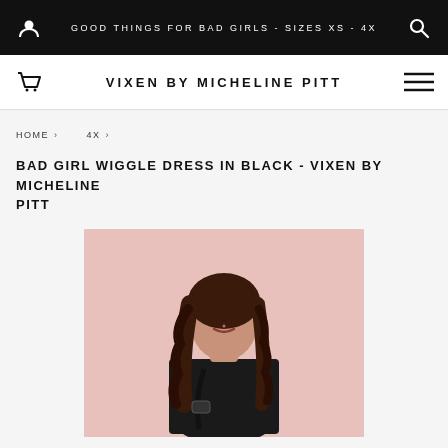GOOD THINGS FOR BAD GIRLS - SIZES XS - 4X
VIXEN BY MICHELINE PITT
HOME › 4X ›
BAD GIRL WIGGLE DRESS IN BLACK - VIXEN BY MICHELINE PITT
[Figure (photo): Woman with dark wavy hair wearing a black dress against a pink background, photographed from mid-torso up]